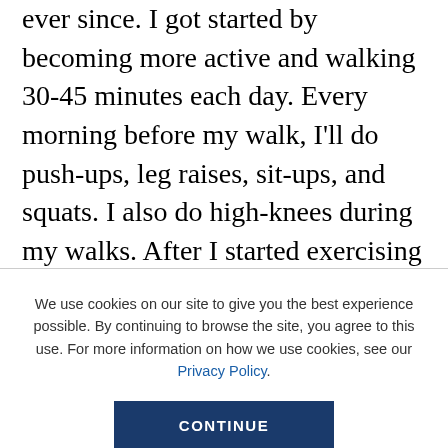ever since. I got started by becoming more active and walking 30-45 minutes each day. Every morning before my walk, I'll do push-ups, leg raises, sit-ups, and squats. I also do high-knees during my walks. After I started exercising more, I noticed results and felt encouraged to eat better. I decided to cut back on fast food and shifted to eating smaller portions. I started cooking at home more often and eating more vegetables. Now, my focus is on having one large meal each day with a little snack in the afternoon. I stop eating around 7:00
We use cookies on our site to give you the best experience possible. By continuing to browse the site, you agree to this use. For more information on how we use cookies, see our Privacy Policy.
CONTINUE